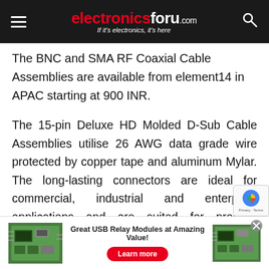electronicsforu.com — If it's electronics, it's here
The BNC and SMA RF Coaxial Cable Assemblies are available from element14 in APAC starting at 900 INR.
The 15-pin Deluxe HD Molded D-Sub Cable Assemblies utilise 26 AWG data grade wire protected by copper tape and aluminum Mylar. The long-lasting connectors are ideal for commercial, industrial and enterprise applications and are suited for projects requiring frequent disconnects. With gold-plated contacts for excellent signal communication, they provide a reliable, cut-in handling...
[Figure (other): Advertisement banner for USB Relay Modules showing PCB circuit board images, headline 'Great USB Relay Modules at Amazing Value!' and a red 'Learn more' button with a close (X) button]